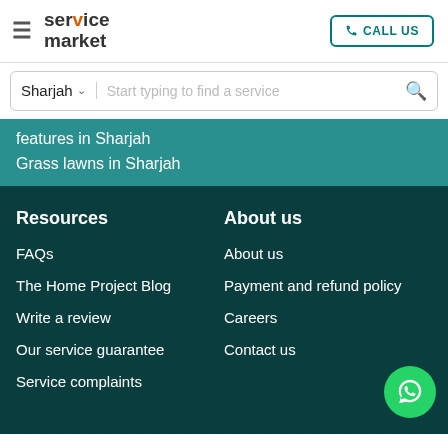≡ service market | CALL US
Sharjah | Start typing to find a service
features in Sharjah
Grass lawns in Sharjah
Resources
FAQs
The Home Project Blog
Write a review
Our service guarantee
Service complaints
About us
About us
Payment and refund policy
Careers
Contact us